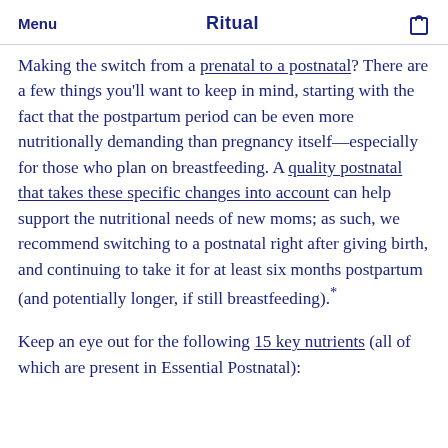Menu  Ritual  [bag icon]
Making the switch from a prenatal to a postnatal? There are a few things you'll want to keep in mind, starting with the fact that the postpartum period can be even more nutritionally demanding than pregnancy itself—especially for those who plan on breastfeeding. A quality postnatal that takes these specific changes into account can help support the nutritional needs of new moms; as such, we recommend switching to a postnatal right after giving birth, and continuing to take it for at least six months postpartum (and potentially longer, if still breastfeeding).*
Keep an eye out for the following 15 key nutrients (all of which are present in Essential Postnatal):